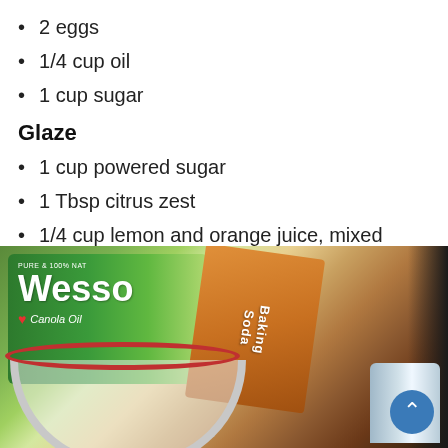2 eggs
1/4 cup oil
1 cup sugar
Glaze
1 cup powered sugar
1 Tbsp citrus zest
1/4 cup lemon and orange juice, mixed
[Figure (photo): Photo of baking ingredients including a Wesson Canola Oil bottle, a box of baking soda, a mixing bowl, and a can on a dark surface.]